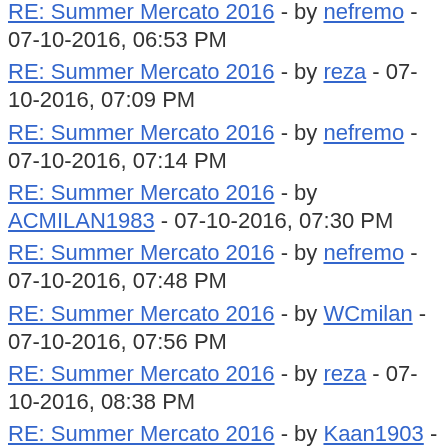RE: Summer Mercato 2016 - by nefremo - 07-10-2016, 06:53 PM
RE: Summer Mercato 2016 - by reza - 07-10-2016, 07:09 PM
RE: Summer Mercato 2016 - by nefremo - 07-10-2016, 07:14 PM
RE: Summer Mercato 2016 - by ACMILAN1983 - 07-10-2016, 07:30 PM
RE: Summer Mercato 2016 - by nefremo - 07-10-2016, 07:48 PM
RE: Summer Mercato 2016 - by WCmilan - 07-10-2016, 07:56 PM
RE: Summer Mercato 2016 - by reza - 07-10-2016, 08:38 PM
RE: Summer Mercato 2016 - by Kaan1903 - 07-10-2016, 09:30 PM
RE: Summer Mercato 2016 - by ACM2022 - 07-10-2016, 11:21 PM
RE: Summer Mercato 2016 - by nefremo - 07-10-2016, 11:38 PM
RE: Summer Mercato 2016 - by ACM2022 - 07-11-2016, 12:03 AM
RE: Summer Mercato 2016 - by millinarios - 07-11-2016, 05:30 AM
RE: Summer Mercato 2016 - by porcho - 07-11-2016, 12:48 AM